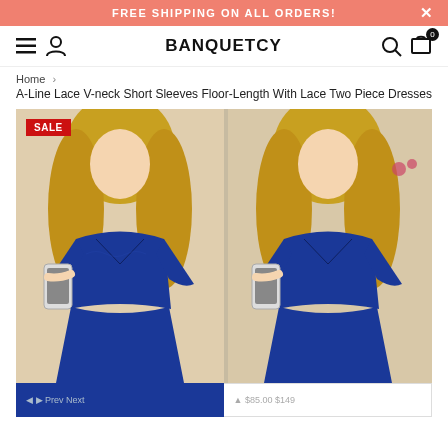FREE SHIPPING ON ALL ORDERS!
[Figure (screenshot): E-commerce website header with BANQUETCY logo, hamburger menu, user icon, search icon, and cart icon with 0 badge]
Home › A-Line Lace V-neck Short Sleeves Floor-Length With Lace Two Piece Dresses
[Figure (photo): Product photo showing two side-by-side views of a woman in a royal blue two-piece lace dress with short sleeves and V-neck, taking a mirror selfie. A red SALE badge is in the top-left corner.]
(product thumbnail navigation bar — left panel dark blue, right panel white)